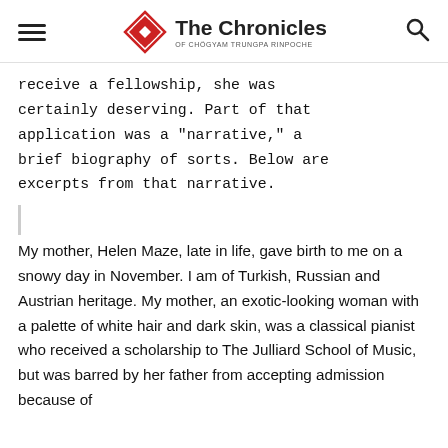The Chronicles of Chogyam Trungpa Rinpoche
receive a fellowship, she was certainly deserving. Part of that application was a "narrative," a brief biography of sorts. Below are excerpts from that narrative.
My mother, Helen Maze, late in life, gave birth to me on a snowy day in November. I am of Turkish, Russian and Austrian heritage. My mother, an exotic-looking woman with a palette of white hair and dark skin, was a classical pianist who received a scholarship to The Julliard School of Music, but was barred by her father from accepting admission because of